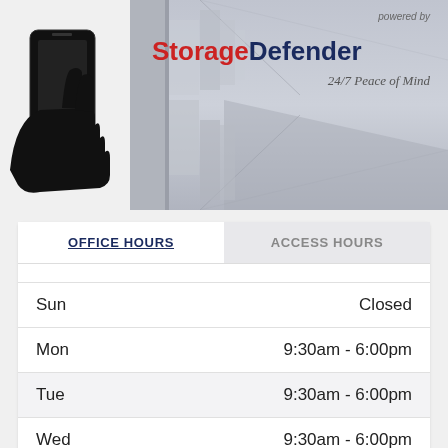[Figure (logo): StorageDefender banner with hand holding phone icon, storage hallway background, 'powered by' text, 'StorageDefender 24/7 Peace of Mind' branding]
| Day | Hours |
| --- | --- |
| Sun | Closed |
| Mon | 9:30am - 6:00pm |
| Tue | 9:30am - 6:00pm |
| Wed | 9:30am - 6:00pm |
| Thu | 9:30am - 6:00pm |